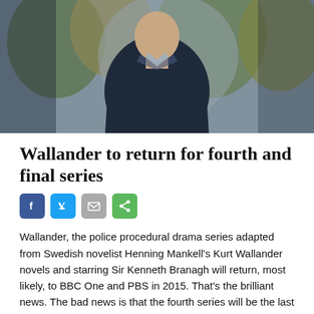[Figure (photo): A man in a dark jacket standing outdoors with blurred autumn trees in background]
Wallander to return for fourth and final series
[Figure (infographic): Social sharing icons: Facebook, Twitter, Email, Share]
Wallander, the police procedural drama series adapted from Swedish novelist Henning Mankell's Kurt Wallander novels and starring Sir Kenneth Branagh will return, most likely, to BBC One and PBS in 2015. That's the brilliant news. The bad news is that the fourth series will be the last according to Branagh.  The three episode